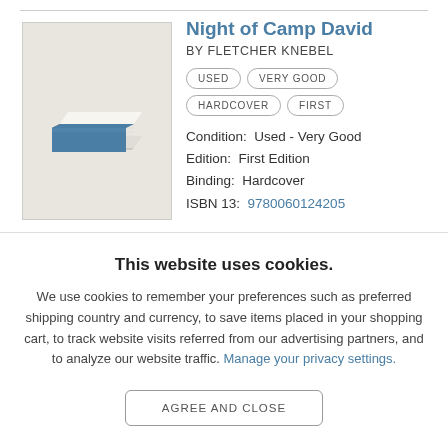[Figure (illustration): Illustration of a stack of books with a blue cover, viewed from a slight angle, on a light beige background]
Night of Camp David
BY FLETCHER KNEBEL
USED
VERY GOOD
HARDCOVER
FIRST
Condition:  Used - Very Good
Edition:  First Edition
Binding:  Hardcover
ISBN 13:  9780060124205
This website uses cookies.
We use cookies to remember your preferences such as preferred shipping country and currency, to save items placed in your shopping cart, to track website visits referred from our advertising partners, and to analyze our website traffic. Manage your privacy settings.